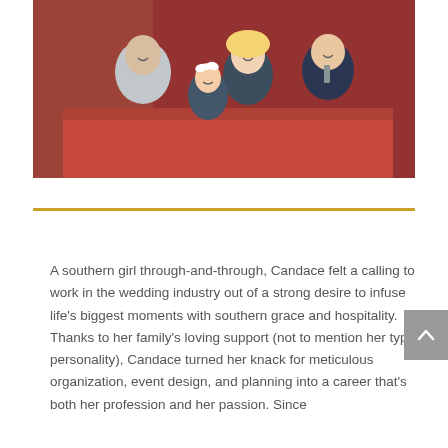[Figure (photo): A family portrait photo showing a man in a grey sweater, a woman with blonde hair in a black dress, a baby girl in a dark dress with a white bow, and a young boy in a navy blazer with a tie, all seated together on a red tufted sofa.]
A southern girl through-and-through, Candace felt a calling to work in the wedding industry out of a strong desire to infuse life's biggest moments with southern grace and hospitality. Thanks to her family's loving support (not to mention her type-A personality), Candace turned her knack for meticulous organization, event design, and planning into a career that's both her profession and her passion. Since